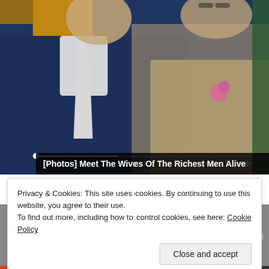[Figure (photo): A man in a dark navy suit with a light grey tie sitting next to a woman in a beige/gold lace outfit with a pink flower corsage. They appear to be at an event. Media player controls and a progress bar are visible at the bottom of the image.]
[Photos] Meet The Wives Of The Richest Men Alive
[Figure (photo): A black and white photo showing what appears to be a person holding a cat, with window blinds visible in the background.]
Privacy & Cookies: This site uses cookies. By continuing to use this website, you agree to their use.
To find out more, including how to control cookies, see here: Cookie Policy
Close and accept